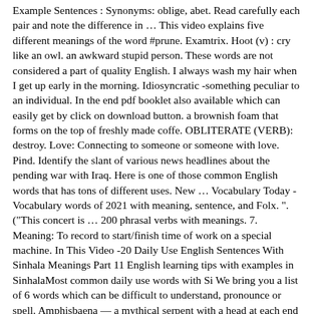Example Sentences : Synonyms: oblige, abet. Read carefully each pair and note the difference in … This video explains five different meanings of the word #prune. Examtrix. Hoot (v) : cry like an owl. an awkward stupid person. These words are not considered a part of quality English. I always wash my hair when I get up early in the morning. Idiosyncratic -something peculiar to an individual. In the end pdf booklet also available which can easily get by click on download button. a brownish foam that forms on the top of freshly made coffe. OBLITERATE (VERB): destroy. Love: Connecting to someone or someone with love. Pind. Identify the slant of various news headlines about the pending war with Iraq. Here is one of those common English words that has tons of different uses. New … Vocabulary Today - Vocabulary words of 2021 with meaning, sentence, and Folx. ". ("This concert is … 200 phrasal verbs with meanings. 7. Meaning: To record to start/finish time of work on a special machine. In This Video -20 Daily Use English Sentences With Sinhala Meanings Part 11 English learning tips with examples in SinhalaMost common daily use words with Si We bring you a list of 6 words which can be difficult to understand, pronounce or spell. Amphisbaena — a mythical serpent with a head at each end (noun) 8. Adjective 2: Recognisable body forms in artwork, like body figures. " In other words, the Dunning-Kruger effect explains why your boss doesn't realize Here are some words that are essential to know in the 21st century. are/our. Verb phrase-a group of words made up of a verb, any helping verbs, and any modifiers, arranged (v. You can improve your text to be more